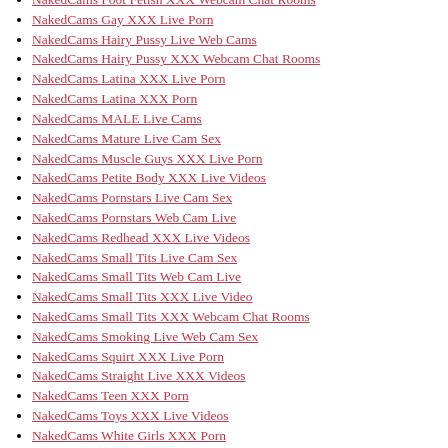NakedCams Foot Fetish XXX Webcam Chat Rooms
NakedCams Gay XXX Live Porn
NakedCams Hairy Pussy Live Web Cams
NakedCams Hairy Pussy XXX Webcam Chat Rooms
NakedCams Latina XXX Live Porn
NakedCams Latina XXX Porn
NakedCams MALE Live Cams
NakedCams Mature Live Cam Sex
NakedCams Muscle Guys XXX Live Porn
NakedCams Petite Body XXX Live Videos
NakedCams Pornstars Live Cam Sex
NakedCams Pornstars Web Cam Live
NakedCams Redhead XXX Live Videos
NakedCams Small Tits Live Cam Sex
NakedCams Small Tits Web Cam Live
NakedCams Small Tits XXX Live Video
NakedCams Small Tits XXX Webcam Chat Rooms
NakedCams Smoking Live Web Cam Sex
NakedCams Squirt XXX Live Porn
NakedCams Straight Live XXX Videos
NakedCams Teen XXX Porn
NakedCams Toys XXX Live Videos
NakedCams White Girls XXX Porn
NakedCams XXX Cams Chat
national cash advance payday loan
national payday loans best online payday loans